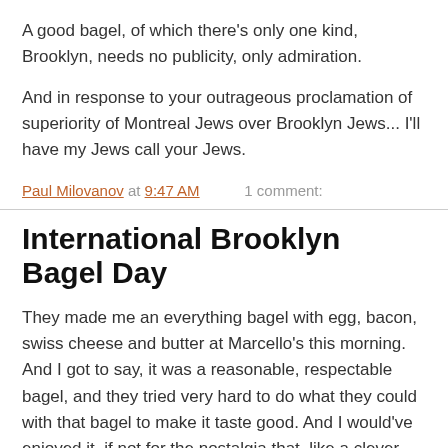A good bagel, of which there's only one kind, Brooklyn, needs no publicity, only admiration.
And in response to your outrageous proclamation of superiority of Montreal Jews over Brooklyn Jews... I'll have my Jews call your Jews.
Paul Milovanov at 9:47 AM    1 comment:
International Brooklyn Bagel Day
They made me an everything bagel with egg, bacon, swiss cheese and butter at Marcello's this morning. And I got to say, it was a reasonable, respectable bagel, and they tried very hard to do what they could with that bagel to make it taste good. And I would've enjoyed it, if not for the nostalgia that, like a clever assassin on a December night, had sneaked* up close behind my back and, holding its breath, plunged the full length of a knife of chagrin into my heart. I thought of Brooklyn Bagels.